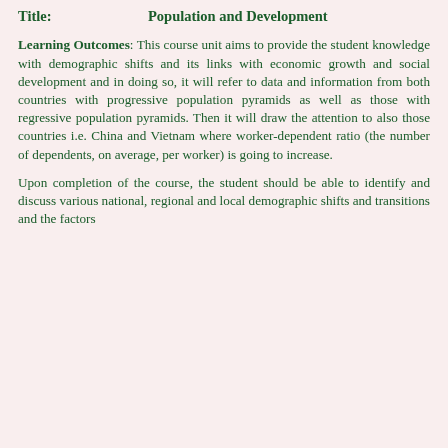Title: Population and Development
Learning Outcomes: This course unit aims to provide the student knowledge with demographic shifts and its links with economic growth and social development and in doing so, it will refer to data and information from both countries with progressive population pyramids as well as those with regressive population pyramids. Then it will draw the attention to also those countries i.e. China and Vietnam where worker-dependent ratio (the number of dependents, on average, per worker) is going to increase.
Upon completion of the course, the student should be able to identify and discuss various national, regional and local demographic shifts and transitions and the factors